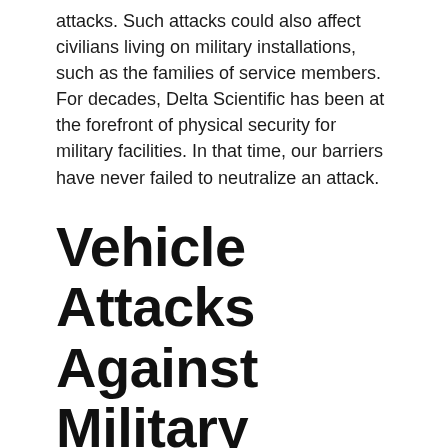attacks. Such attacks could also affect civilians living on military installations, such as the families of service members. For decades, Delta Scientific has been at the forefront of physical security for military facilities. In that time, our barriers have never failed to neutralize an attack.
Vehicle Attacks Against Military Bases Have Increased in Recent Years
The past two years or so have seen an increase in vehicle attacks against U.S. military bases. For example, in September 2019, terrorists in Somalia launched an attack against a base where U.S. soldiers train